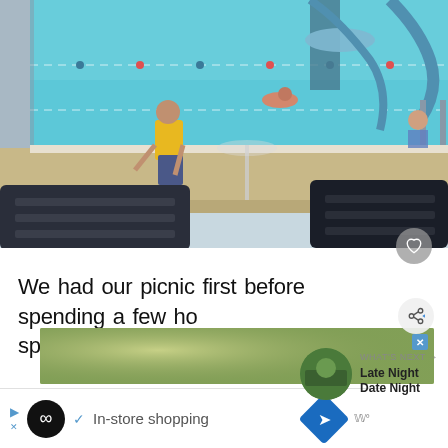[Figure (photo): Outdoor public swimming pool with water slides, lane ropes, and children swimming. In the foreground are dark-colored pool lounge chairs. A child in a yellow shirt leans over the pool edge.]
We had our picnic first before spending a few ho splashing around.
[Figure (photo): What's Next thumbnail - Late Night Date Night article with circular thumbnail of outdoor scene]
[Figure (photo): Advertisement banner with blurred outdoor/nature background]
✓ In-store shopping